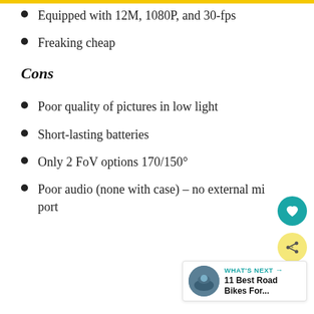Equipped with 12M, 1080P, and 30-fps
Freaking cheap
Cons
Poor quality of pictures in low light
Short-lasting batteries
Only 2 FoV options 170/150°
Poor audio (none with case) – no external mic port